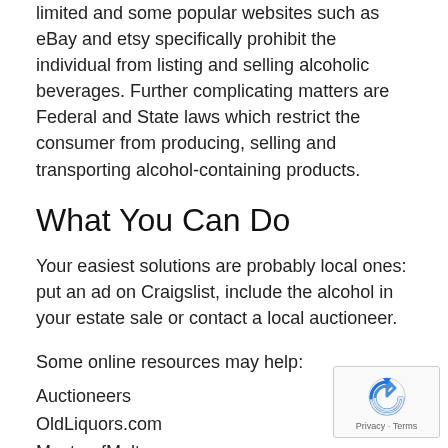limited and some popular websites such as eBay and etsy specifically prohibit the individual from listing and selling alcoholic beverages. Further complicating matters are Federal and State laws which restrict the consumer from producing, selling and transporting alcohol-containing products.
What You Can Do
Your easiest solutions are probably local ones: put an ad on Craigslist, include the alcohol in your estate sale or contact a local auctioneer.
Some online resources may help:
Auctioneers
OldLiquors.com
MasterofMalt.com